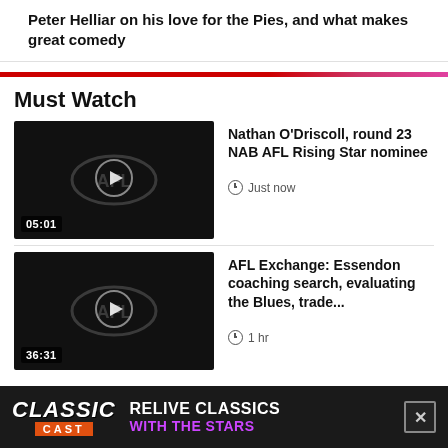Peter Helliar on his love for the Pies, and what makes great comedy
Must Watch
[Figure (screenshot): Video thumbnail with AFL logo and play button, duration 05:01]
Nathan O'Driscoll, round 23 NAB AFL Rising Star nominee
Just now
[Figure (screenshot): Video thumbnail with AFL logo and play button, duration 36:31]
AFL Exchange: Essendon coaching search, evaluating the Blues, trade...
1 hr
[Figure (infographic): Classic Cast advertisement banner: RELIVE CLASSICS WITH THE STARS]